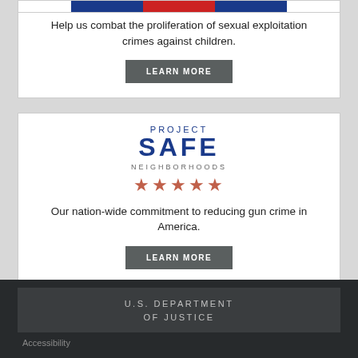[Figure (illustration): Partial flag/logo image at top of first card (red, white, blue colors visible)]
Help us combat the proliferation of sexual exploitation crimes against children.
LEARN MORE
[Figure (logo): Project Safe Neighborhoods logo with PROJECT text, SAFE in large bold letters, NEIGHBORHOODS below, and five red stars]
Our nation-wide commitment to reducing gun crime in America.
LEARN MORE
U.S. DEPARTMENT OF JUSTICE
Accessibility